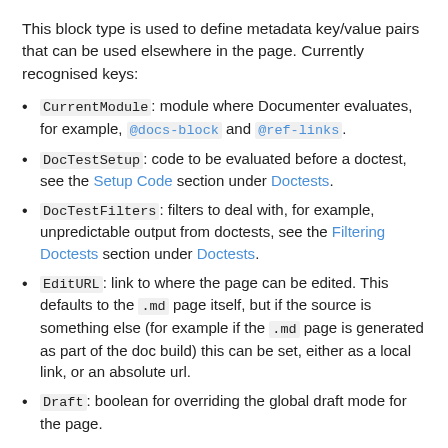This block type is used to define metadata key/value pairs that can be used elsewhere in the page. Currently recognised keys:
CurrentModule: module where Documenter evaluates, for example, @docs-block and @ref-links.
DocTestSetup: code to be evaluated before a doctest, see the Setup Code section under Doctests.
DocTestFilters: filters to deal with, for example, unpredictable output from doctests, see the Filtering Doctests section under Doctests.
EditURL: link to where the page can be edited. This defaults to the .md page itself, but if the source is something else (for example if the .md page is generated as part of the doc build) this can be set, either as a local link, or an absolute url.
Draft: boolean for overriding the global draft mode for the page.